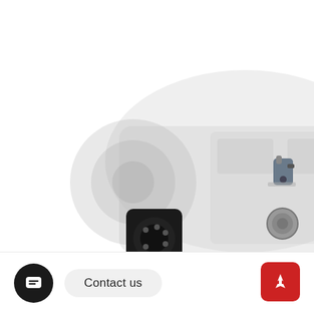[Figure (photo): Main product photo showing a camera lens focus system/follow focus rig with motor, rods, and an electronic control box, mounted on a professional cinema camera body (ghosted/faded). A small rectangular electronic unit is shown to the right of the rig.]
[Figure (photo): Thumbnail: small electronic device/motor connector component, grey and black]
[Figure (photo): Thumbnail: circular disc/knob component, grey]
[Figure (photo): Thumbnail: small cylindrical motor/lens component, dark grey]
[Figure (photo): Thumbnail: rod/connector component with screw attachment, dark grey]
Contact us